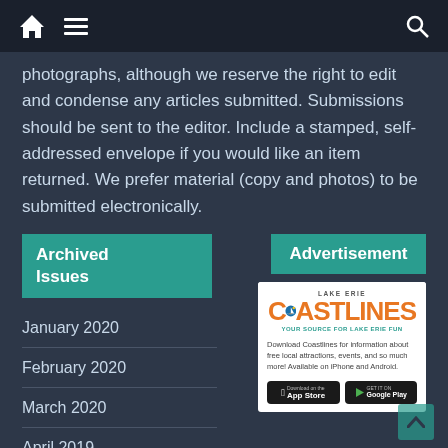Navigation bar with home, menu, and search icons
photographs, although we reserve the right to edit and condense any articles submitted. Submissions should be sent to the editor. Include a stamped, self-addressed envelope if you would like an item returned. We prefer material (copy and photos) to be submitted electronically.
Archived Issues
Advertisement
January 2020
February 2020
March 2020
April 2019
May 2019
June 2019
[Figure (screenshot): Lake Erie Coastlines app advertisement with logo, description text, and App Store/Google Play download buttons]